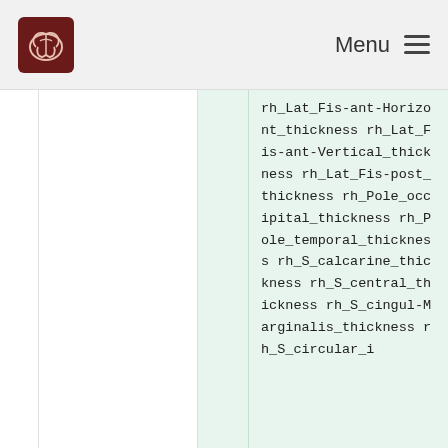Menu
rh_Lat_Fis-ant-Horizont_thickness rh_Lat_Fis-ant-Vertical_thickness rh_Lat_Fis-post_thickness rh_Pole_occipital_thickness rh_Pole_temporal_thickness rh_S_calcarine_thickness rh_S_central_thickness rh_S_cingul-Marginalis_thickness rh_S_circular_i